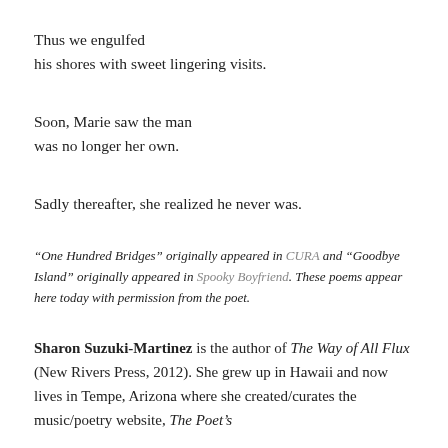Thus we engulfed
his shores with sweet lingering visits.
Soon, Marie saw the man
was no longer her own.
Sadly thereafter, she realized he never was.
“One Hundred Bridges” originally appeared in CURA and “Goodbye Island” originally appeared in Spooky Boyfriend. These poems appear here today with permission from the poet.
Sharon Suzuki-Martinez is the author of The Way of All Flux (New Rivers Press, 2012). She grew up in Hawaii and now lives in Tempe, Arizona where she created/curates the music/poetry website, The Poet’s